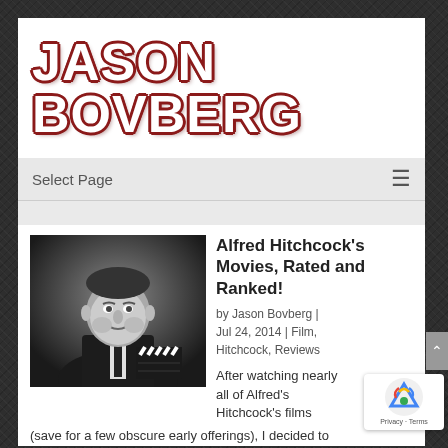JASON BOVBERG
Select Page
[Figure (photo): Black and white photograph of Alfred Hitchcock holding a clapperboard]
Alfred Hitchcock’s Movies, Rated and Ranked!
by Jason Bovberg | Jul 24, 2014 | Film, Hitchcock, Reviews
After watching nearly all of Alfred’s Hitchcock’s films (save for a few obscure early offerings), I decided to